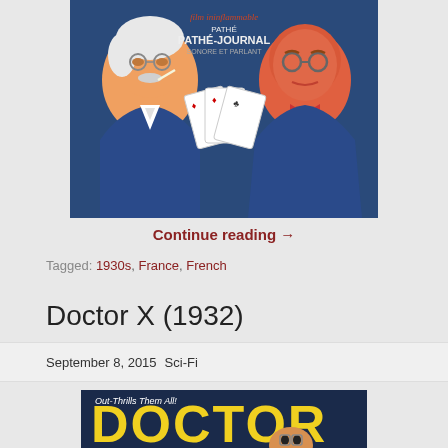[Figure (photo): Movie poster showing two caricatured men in blue suits with playing cards, text reads 'film ininflammable Pathe, PATHE-JOURNAL']
Continue reading →
Tagged: 1930s, France, French
Doctor X (1932)
September 8, 2015  Sci-Fi
[Figure (photo): Movie poster for Doctor X (1932) with yellow text 'DOCTOR' and tagline 'Out-Thrills Them All!' on dark background with face visible]